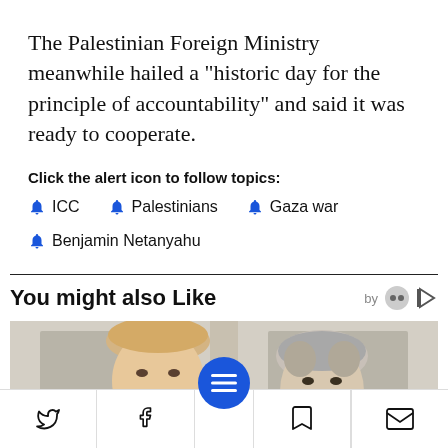The Palestinian Foreign Ministry meanwhile hailed a "historic day for the principle of accountability" and said it was ready to cooperate.
Click the alert icon to follow topics:
ICC
Palestinians
Gaza war
Benjamin Netanyahu
You might also Like
[Figure (photo): Photo of two political figures (Trump and Netanyahu) standing side by side in front of a door/wall background.]
Social share bar with Twitter, Facebook, menu, bookmark, and email icons